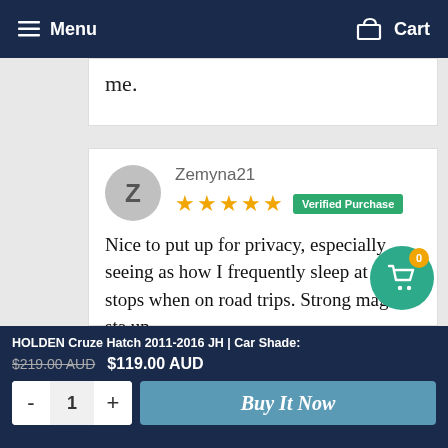Menu  Cart
me.
Zemyna21
★★★★★ Verified Purchase

Nice to put up for privacy, especially seeing as how I frequently sleep at rest stops when on road trips. Strong magnets sta up.
HOLDEN Cruze Hatch 2011-2016 JH | Car Shade: $219.00 AUD $119.00 AUD  - 1 + Buy It Now